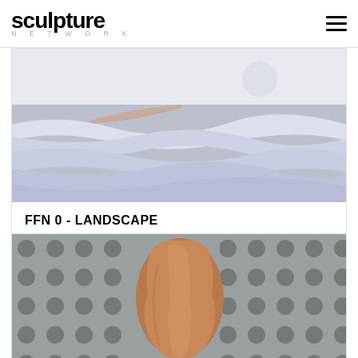sculpture NETWORK
[Figure (photo): White layered paper sculpture resembling a landscape with wave-like horizontal forms and subtle shadows, mounted on a light grey background]
FFN 0 - LANDSCAPE
[Figure (photo): Wooden organic sculpture resembling a human or animal torso/gourd shape in warm brown tones, displayed against a perforated metal wall with circular holes]